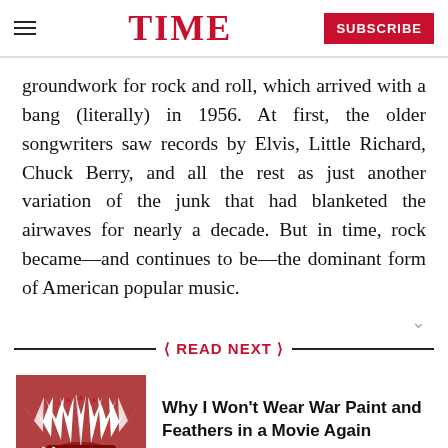TIME | SUBSCRIBE
groundwork for rock and roll, which arrived with a bang (literally) in 1956. At first, the older songwriters saw records by Elvis, Little Richard, Chuck Berry, and all the rest as just another variation of the junk that had blanketed the airwaves for nearly a decade. But in time, rock became—and continues to be—the dominant form of American popular music.
READ NEXT
Why I Won't Wear War Paint and Feathers in a Movie Again
[Figure (photo): Photo of a Native American headdress with red and white feathers]